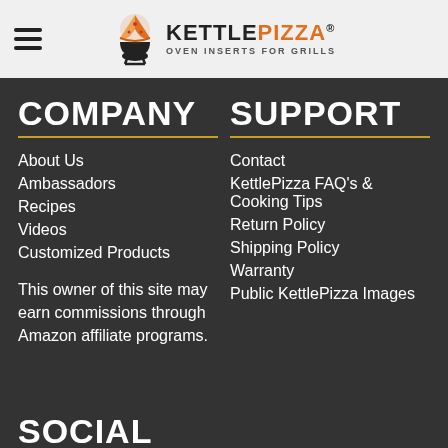KETTLE PIZZA - OVEN INSERTS FOR GRILLS
COMPANY
About Us
Ambassadors
Recipes
Videos
Customized Products
This owner of this site may earn commissions through Amazon affiliate programs.
SUPPORT
Contact
KettlePizza FAQ's & Cooking Tips
Return Policy
Shipping Policy
Warranty
Public KettlePizza Images
SOCIAL